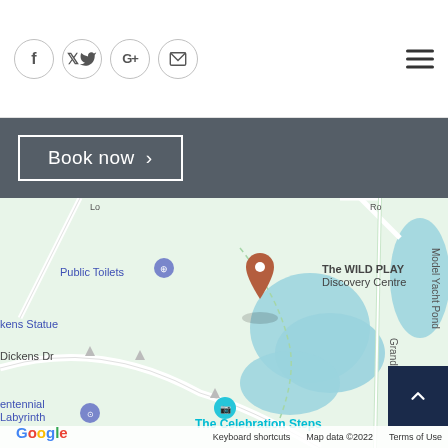Social icons: Facebook, Twitter, Google+, Email; Hamburger menu
Book now >
[Figure (map): Google Maps screenshot showing The WILD PLAY Discovery Centre marked with an orange pin. Nearby landmarks: Public Toilets, kens Statue, Dickens Dr, The Celebration Steps (with teal camera icon), entennial Labyrinth, Model Yacht Pond, Grand Dr road. Blue water bodies (ponds/lake) visible. Map data ©2022.]